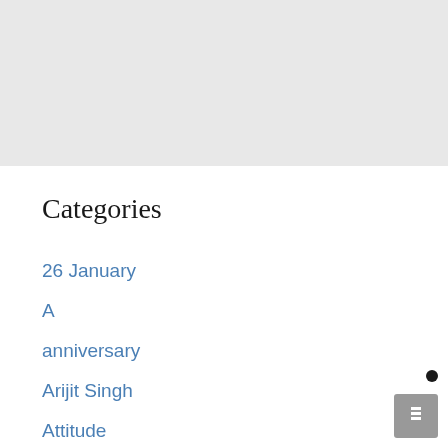[Figure (other): Gray banner/header area at top of page]
Categories
26 January
A
anniversary
Arijit Singh
Attitude
B